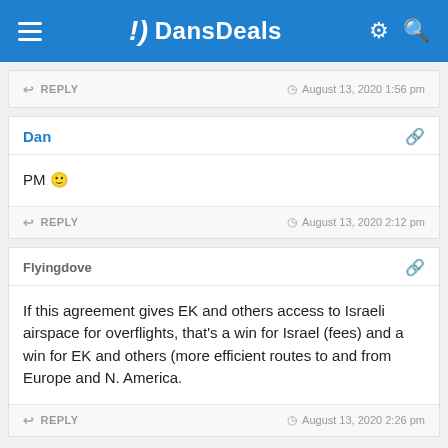DansDeals
REPLY   August 13, 2020 1:56 pm
Dan
PM 🙂
REPLY   August 13, 2020 2:12 pm
Flyingdove
If this agreement gives EK and others access to Israeli airspace for overflights, that's a win for Israel (fees) and a win for EK and others (more efficient routes to and from Europe and N. America.
REPLY   August 13, 2020 2:26 pm